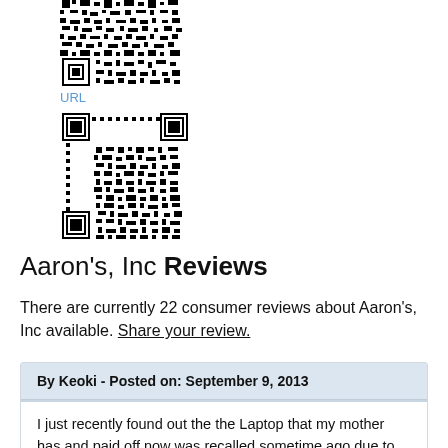[Figure (other): QR code image (partial, top cut off) above URL label]
URL
[Figure (other): QR code image (second, full visible)]
Aaron's, Inc Reviews
There are currently 22 consumer reviews about Aaron's, Inc available. Share your review.
By Keoki - Posted on: September 9, 2013
I just recently found out the the Laptop that my mother has and paid off now was recalled sometime ago due to the Mother Board has a recall. Apparently, Aarons did not notify